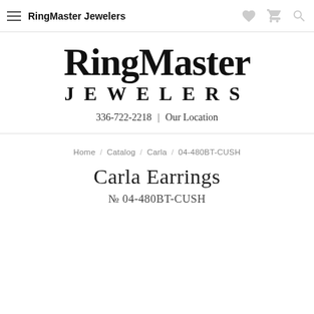RingMaster Jewelers
[Figure (logo): RingMaster Jewelers logo with large serif text 'RingMaster' on top line and 'JEWELERS' in spaced capitals below, followed by phone number 336-722-2218 and 'Our Location' link]
Home / Catalog / Carla / 04-480BT-CUSH
Carla Earrings
№ 04-480BT-CUSH